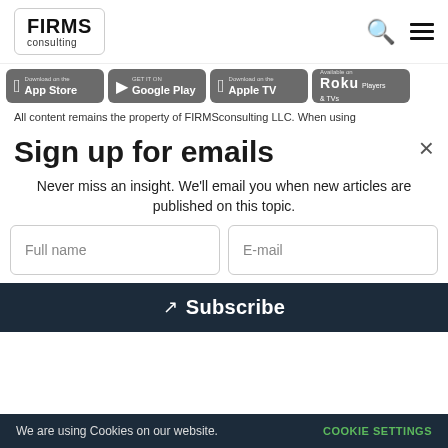FIRMS consulting
[Figure (logo): App store badges: App Store, Google Play, Apple TV, Roku Players & TVs]
All content remains the property of FIRMSconsulting LLC. When using
Sign up for emails
Never miss an insight. We'll email you when new articles are published on this topic.
Full name | E-mail (form fields)
Subscribe (button)
We are using Cookies on our website. COOKIE SETTINGS